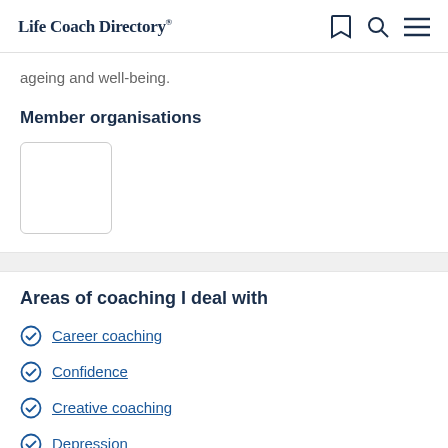Life Coach Directory
ageing and well-being.
Member organisations
[Figure (other): Empty white box with rounded border representing a member organisation logo placeholder]
Areas of coaching I deal with
Career coaching
Confidence
Creative coaching
Depression